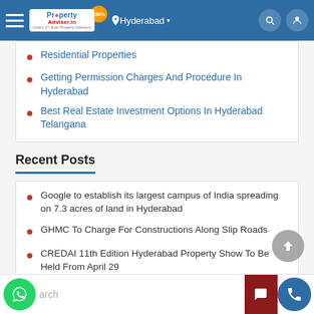Property Adviser.in — Hyderabad
Residential Properties
Getting Permission Charges And Procedure In Hyderabad
Best Real Estate Investment Options In Hyderabad Telangana
Recent Posts
Google to establish its largest campus of India spreading on 7.3 acres of land in Hyderabad
GHMC To Charge For Constructions Along Slip Roads
CREDAI 11th Edition Hyderabad Property Show To Be Held From April 29
Mindspace Skywalk Is Now Accessible For Public
Hyderabad Has Development Projects Worth Rs 495.75 Cr Planned